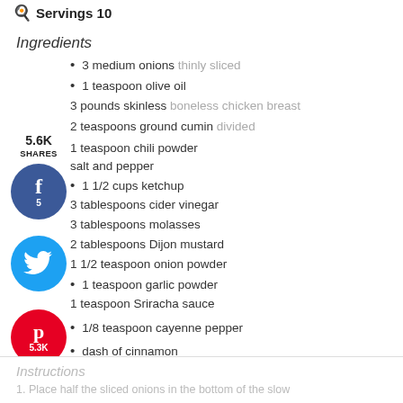Servings 10
Ingredients
3 medium onions thinly sliced
1 teaspoon olive oil
3 pounds skinless boneless chicken breast
2 teaspoons ground cumin divided
1 teaspoon chili powder
salt and pepper
1 1/2 cups ketchup
3 tablespoons cider vinegar
3 tablespoons molasses
2 tablespoons Dijon mustard
1 1/2 teaspoon onion powder
1 teaspoon garlic powder
1 teaspoon Sriracha sauce
1/8 teaspoon cayenne pepper
dash of cinnamon
5.6K SHARES
[Figure (infographic): Social share buttons: Facebook (5 shares), Twitter, Pinterest (5.3K), Yummly]
Instructions
1. Place half the sliced onions in the bottom of the slow